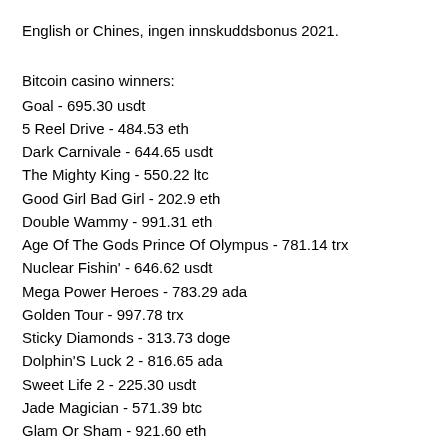English or Chines, ingen innskuddsbonus 2021.
Bitcoin casino winners:
Goal - 695.30 usdt
5 Reel Drive - 484.53 eth
Dark Carnivale - 644.65 usdt
The Mighty King - 550.22 ltc
Good Girl Bad Girl - 202.9 eth
Double Wammy - 991.31 eth
Age Of The Gods Prince Of Olympus - 781.14 trx
Nuclear Fishin' - 646.62 usdt
Mega Power Heroes - 783.29 ada
Golden Tour - 997.78 trx
Sticky Diamonds - 313.73 doge
Dolphin'S Luck 2 - 816.65 ada
Sweet Life 2 - 225.30 usdt
Jade Magician - 571.39 btc
Glam Or Sham - 921.60 eth